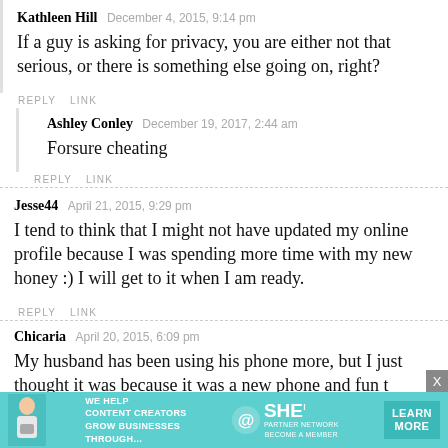Kathleen Hill December 4, 2015, 9:14 pm
If a guy is asking for privacy, you are either not that serious, or there is something else going on, right?
REPLY   LINK
Ashley Conley December 19, 2017, 2:44 am
Forsure cheating
REPLY   LINK
Jesse44 April 21, 2015, 9:29 pm
I tend to think that I might not have updated my online profile because I was spending more time with my new honey :) I will get to it when I am ready.
REPLY   LINK
Chicaria April 20, 2015, 6:09 pm
My husband has been using his phone more, but I just thought it was because it was a new phone and fun t…
[Figure (infographic): SHE Media partner network advertisement banner with teal background, woman with laptop photo, text 'We help content creators grow businesses through...', SHE logo, 'LEARN MORE' button]